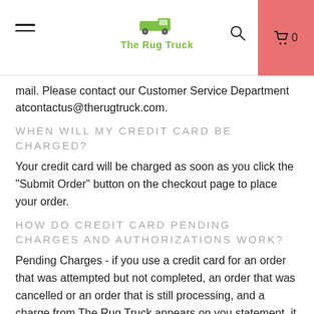The Rug Truck
mail. Please contact our Customer Service Department at contactus@therugtruck.com.
WHEN WILL MY CREDIT CARD BE CHARGED?
Your credit card will be charged as soon as you click the "Submit Order" button on the checkout page to place your order.
HOW DO CREDIT CARD PENDING CHARGES AND AUTHORIZATIONS WORK?
Pending Charges - if you use a credit card for an order that was attempted but not completed, an order that was cancelled or an order that is still processing, and a charge from The Rug Truck appears on you statement, it is because your financial institution placed a temporary authorization on your account to